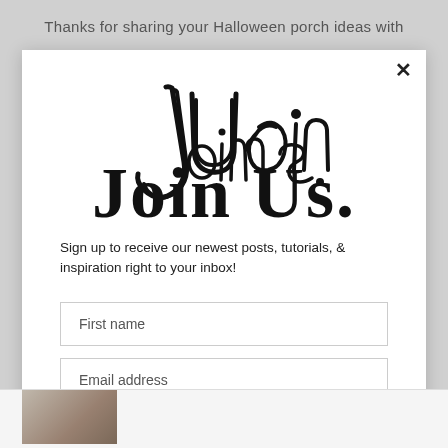Thanks for sharing your Halloween porch ideas with
[Figure (illustration): Handwritten-style 'Join Us.' text in large cursive/script font]
Sign up to receive our newest posts, tutorials, & inspiration right to your inbox!
First name
Email address
Subscribe
[Figure (photo): Small thumbnail photo at bottom left, partially visible]